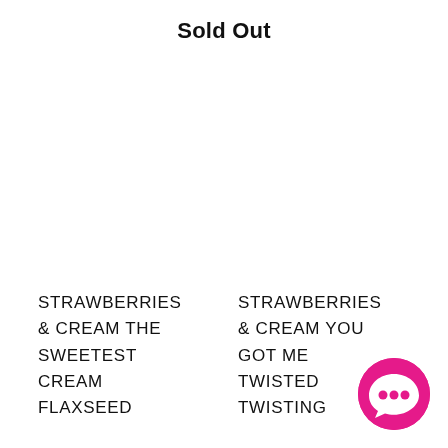Sold Out
STRAWBERRIES
& CREAM THE
SWEETEST
CREAM
FLAXSEED
STRAWBERRIES
& CREAM YOU
GOT ME
TWISTED
TWISTING
[Figure (illustration): Hot pink circular chat bubble icon in bottom right corner]